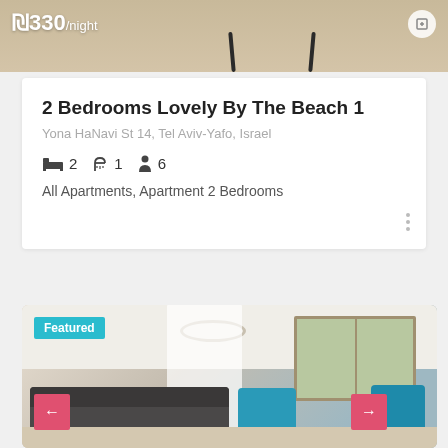[Figure (photo): Top portion of an apartment interior photo showing furniture legs and flooring, with price overlay showing $330/night]
2 Bedrooms Lovely By The Beach 1
Yona HaNavi St 14, Tel Aviv-Yafo, Israel
Bed icon 2  Shower icon 1  Person icon 6
All Apartments, Apartment 2 Bedrooms
[Figure (photo): Living room photo with Featured badge, showing dark sofa, teal/blue chairs, curtains, windows, and navigation arrows. Featured badge in teal, left and right navigation buttons in pink/red.]